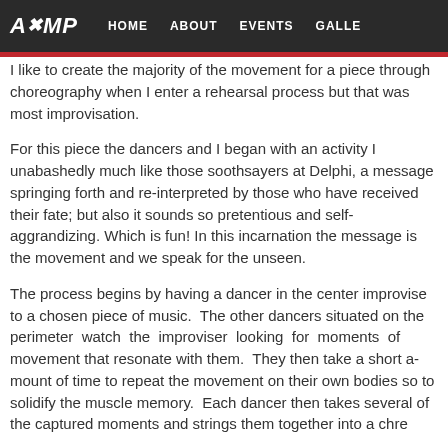AMP | HOME | ABOUT | EVENTS | GALLE
I like to create the majority of the movement for a piece through choreography when I enter a rehearsal process but that was most improvisation.
For this piece the dancers and I began with an activity I unabashedly much like those soothsayers at Delphi, a message springing forth and re-interpreted by those who have received their fate; but also it sounds so pretentious and self-aggrandizing. Which is fun! In this incarnation the message is the movement and we speak for the unseen.
The process begins by having a dancer in the center improvise to a chosen piece of music. The other dancers situated on the perimeter watch the improviser looking for moments of movement that resonate with them. They then take a short amount of time to repeat the movement on their own bodies so to solidify the muscle memory. Each dancer then takes several of the captured moments and strings them together into a chore